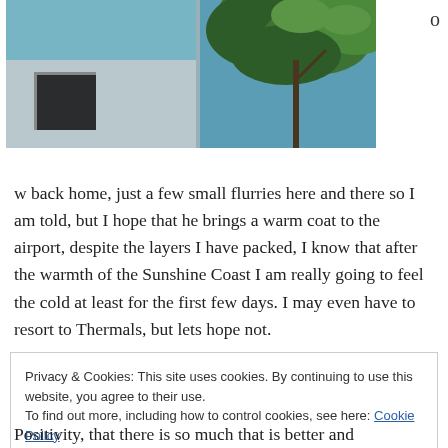[Figure (photo): Partial outdoor photograph showing a blue wall/building with green tree foliage in the upper right and a dark window on a grey building lower left. Image is cropped at top.]
w back home, just a few small flurries here and there so I am told, but I hope that he brings a warm coat to the airport, despite the layers I have packed, I know that after the warmth of the Sunshine Coast I am really going to feel the cold at least for the first few days. I may even have to resort to Thermals, but lets hope not.
Privacy & Cookies: This site uses cookies. By continuing to use this website, you agree to their use.
To find out more, including how to control cookies, see here: Cookie Policy
Positivity, that there is so much that is better and